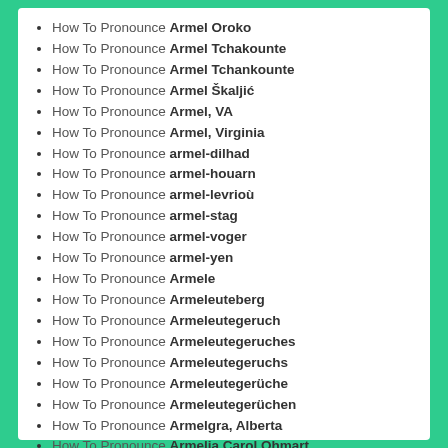How To Pronounce Armel Oroko
How To Pronounce Armel Tchakounte
How To Pronounce Armel Tchankounte
How To Pronounce Armel Škaljić
How To Pronounce Armel, VA
How To Pronounce Armel, Virginia
How To Pronounce armel-dilhad
How To Pronounce armel-houarn
How To Pronounce armel-levrioù
How To Pronounce armel-stag
How To Pronounce armel-voger
How To Pronounce armel-yen
How To Pronounce Armele
How To Pronounce Armeleuteberg
How To Pronounce Armeleutegeruch
How To Pronounce Armeleutegeruches
How To Pronounce Armeleutegeruchs
How To Pronounce Armeleutegerüche
How To Pronounce Armeleutegerüchen
How To Pronounce Armelgra, Alberta
How To Pronounce Armelia Carol Ohmart
How To Pronounce Armelia McQueen